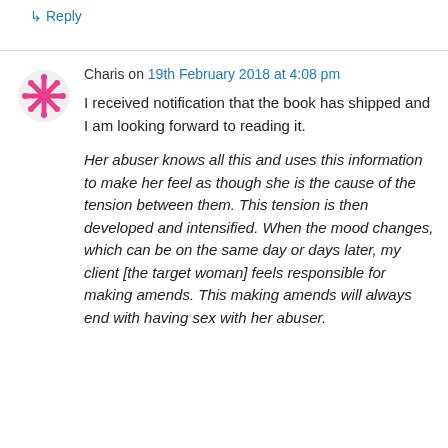↳ Reply
Charis on 19th February 2018 at 4:08 pm
I received notification that the book has shipped and I am looking forward to reading it.
Her abuser knows all this and uses this information to make her feel as though she is the cause of the tension between them. This tension is then developed and intensified. When the mood changes, which can be on the same day or days later, my client [the target woman] feels responsible for making amends. This making amends will always end with having sex with her abuser.